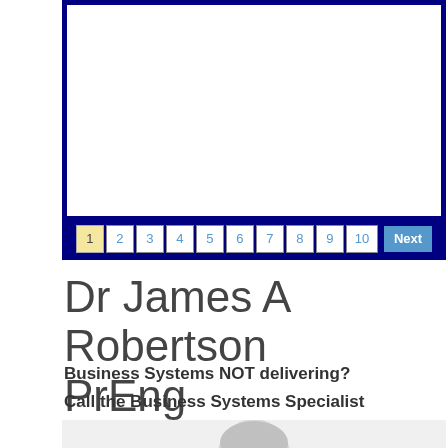[Figure (screenshot): Navigation box with dark blue border showing a website/search results area (content area is blank/white)]
[Figure (infographic): Pagination bar on dark blue background showing page numbers 1-10 with page 1 highlighted in yellow and a Next button in blue]
Dr James A Robertson PrEng
Business Systems NOT delivering?
Call the Business Systems Specialist
[Figure (photo): Black and white photo of a person (head/shoulders), partially visible at bottom of page]